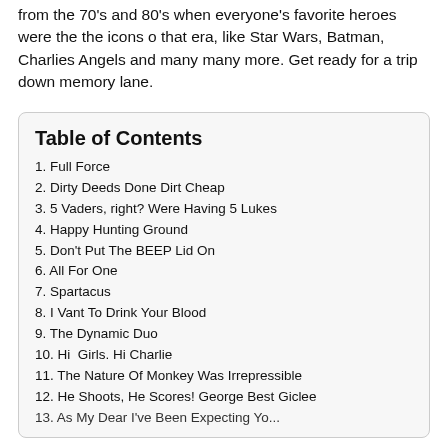from the 70's and 80's when everyone's favorite heroes were the the icons o that era, like Star Wars, Batman, Charlies Angels and many many more. Get ready for a trip down memory lane.
Table of Contents
1. Full Force
2. Dirty Deeds Done Dirt Cheap
3. 5 Vaders, right? Were Having 5 Lukes
4. Happy Hunting Ground
5. Don't Put The BEEP Lid On
6. All For One
7. Spartacus
8. I Vant To Drink Your Blood
9. The Dynamic Duo
10. Hi  Girls. Hi Charlie
11. The Nature Of Monkey Was Irrepressible
12. He Shoots, He Scores! George Best Giclee
13. As My Dear I've Been Expecting You